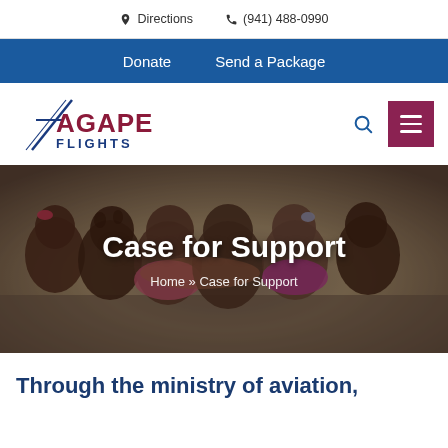Directions  (941) 488-0990
Donate  Send a Package
[Figure (logo): Agape Flights logo with stylized plane graphic and text AGAPE FLIGHTS in blue and dark red]
[Figure (photo): Group of children huddled together viewed from behind, wearing colorful clothes]
Case for Support
Home » Case for Support
Through the ministry of aviation,